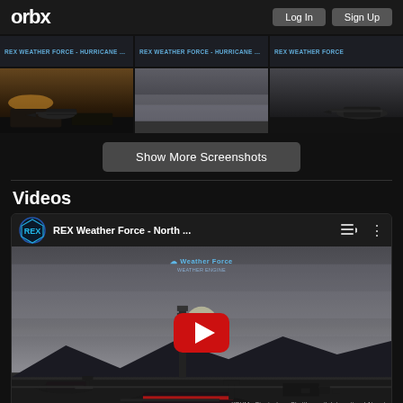orbx | Log In | Sign Up
[Figure (screenshot): Grid of flight simulator screenshots showing aircraft in various weather conditions — top row shows dark banner strips with REX branding, bottom row shows three flight sim screenshots with aircraft on ground or in flight during dusk/overcast conditions]
Show More Screenshots
Videos
[Figure (screenshot): Embedded YouTube video player showing REX Weather Force - North ... video. Thumbnail shows a monochrome airport scene with control tower, parked aircraft, and overcast sky. YouTube play button overlaid. Text: KBHM - Birmingham-Shuttlesworth International Airport, North of Hurricane Zeta's Eyewall. Weather Force logo at top center.]